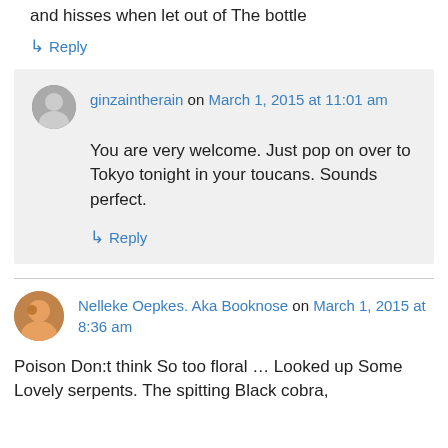and hisses when let out of The bottle
↳ Reply
ginzaintherain on March 1, 2015 at 11:01 am
You are very welcome. Just pop on over to Tokyo tonight in your toucans. Sounds perfect.
↳ Reply
Nelleke Oepkes. Aka Booknose on March 1, 2015 at 8:36 am
Poison Don:t think So too floral … Looked up Some Lovely serpents. The spitting Black cobra,